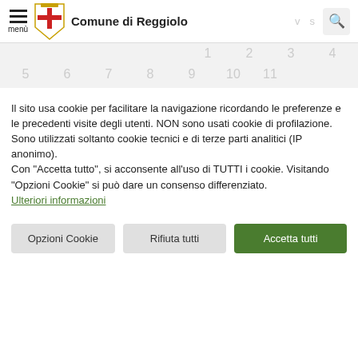Comune di Reggiolo
[Figure (screenshot): Calendar grid showing numbers 1-11 arranged in rows]
Il sito usa cookie per facilitare la navigazione ricordando le preferenze e le precedenti visite degli utenti. NON sono usati cookie di profilazione. Sono utilizzati soltanto cookie tecnici e di terze parti analitici (IP anonimo).
Con "Accetta tutto", si acconsente all'uso di TUTTI i cookie. Visitando "Opzioni Cookie" si può dare un consenso differenziato.
Ulteriori informazioni
Opzioni Cookie
Rifiuta tutti
Accetta tutti